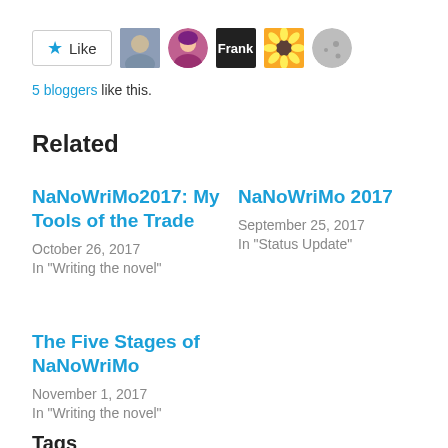[Figure (other): Like button with star icon and 5 blogger avatar thumbnails]
5 bloggers like this.
Related
NaNoWriMo2017: My Tools of the Trade
October 26, 2017
In "Writing the novel"
NaNoWriMo 2017
September 25, 2017
In "Status Update"
The Five Stages of NaNoWriMo
November 1, 2017
In "Writing the novel"
Tags